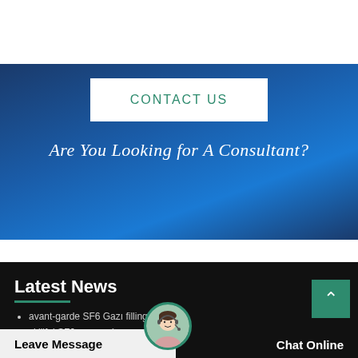[Figure (illustration): White top strip area]
[Figure (illustration): Blue gradient background banner section with CONTACT US button and heading text]
CONTACT US
Are You Looking for A Consultant?
Latest News
avant-garde SF6 Gazı filling plant
skillful SF6 gas analyzer various
[Figure (photo): Customer service agent with headset avatar circle]
Leave Message
Chat Online